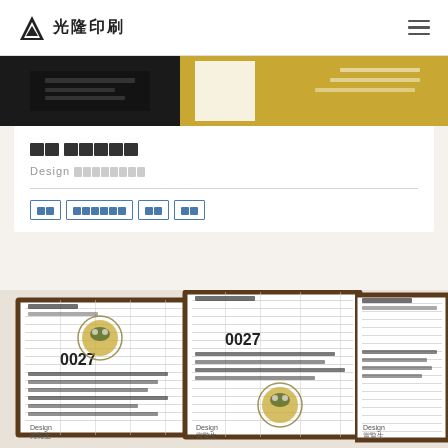光隆印刷
[Figure (photo): Close-up photo of gold and black printed business cards with text visible]
██ █████
Design ████████
██
██████
██
██
[Figure (photo): Close-up photo of printed paper documents/receipts with Japanese text, numbered 0027, with gold foil seal stamps]